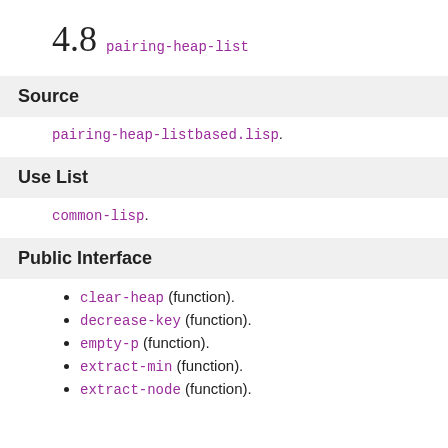4.8 pairing-heap-list
Source
pairing-heap-listbased.lisp.
Use List
common-lisp.
Public Interface
clear-heap (function).
decrease-key (function).
empty-p (function).
extract-min (function).
extract-node (function).